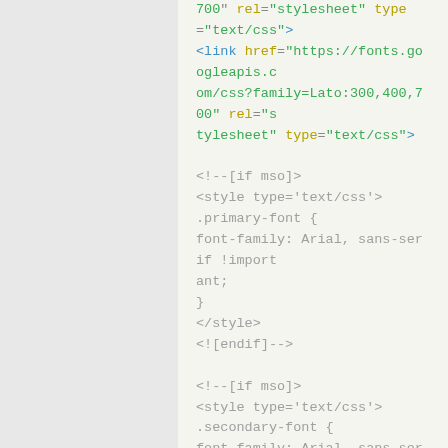700" rel="stylesheet" type="text/css">
<link href="https://fonts.googleapis.com/css?family=Lato:300,400,700" rel="stylesheet" type="text/css">

<!--[if mso]>
<style type='text/css'>
.primary-font {
font-family: Arial, sans-serif !important;
}
</style>
<![endif]-->

<!--[if mso]>
<style type='text/css'>
.secondary-font {
font-family: Arial, sans-serif !important;
}
}
</style>